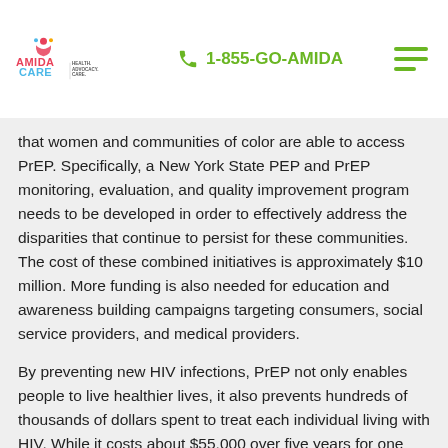Amida Care | 1-855-GO-AMIDA
that women and communities of color are able to access PrEP. Specifically, a New York State PEP and PrEP monitoring, evaluation, and quality improvement program needs to be developed in order to effectively address the disparities that continue to persist for these communities. The cost of these combined initiatives is approximately $10 million. More funding is also needed for education and awareness building campaigns targeting consumers, social service providers, and medical providers.
By preventing new HIV infections, PrEP not only enables people to live healthier lives, it also prevents hundreds of thousands of dollars spent to treat each individual living with HIV. While it costs about $55,000 over five years for one patient to be on PrEP, it costs nearly 10 times that amount for a lifetime of HIV treatment. Medicaid Managed Care health plans